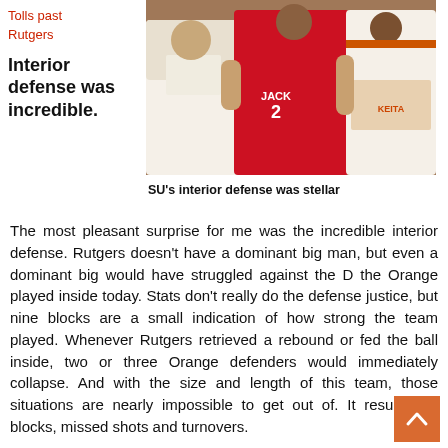Tolls past Rutgers
Interior defense was incredible.
[Figure (photo): Basketball game photo showing players in Syracuse orange uniforms defending a Rutgers player wearing jersey number 22 with name JACK. Another player visible with name KEITA.]
SU's interior defense was stellar
The most pleasant surprise for me was the incredible interior defense. Rutgers doesn't have a dominant big man, but even a dominant big would have struggled against the D the Orange played inside today. Stats don't really do the defense justice, but nine blocks are a small indication of how strong the team played. Whenever Rutgers retrieved a rebound or fed the ball inside, two or three Orange defenders would immediately collapse. And with the size and length of this team, those situations are nearly impossible to get out of. It resulted in blocks, missed shots and turnovers.
» Related: SU's outside shooting improves